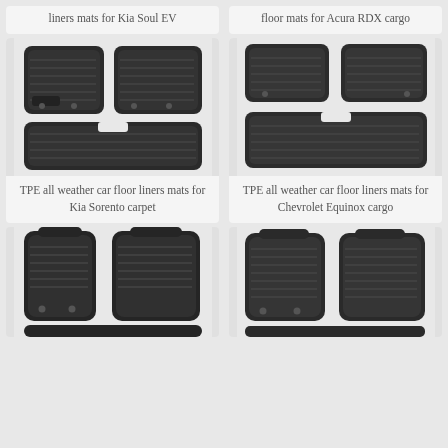liners mats for Kia Soul EV
floor mats for Acura RDX cargo
[Figure (photo): TPE all weather car floor liners mats for Kia Sorento carpet — set of black rubber floor mats shown from above]
TPE all weather car floor liners mats for Kia Sorento carpet
[Figure (photo): TPE all weather car floor liners mats for Chevrolet Equinox cargo — set of black rubber floor mats shown from above]
TPE all weather car floor liners mats for Chevrolet Equinox cargo
[Figure (photo): Car floor mat product — black rubber mats, bottom left product]
[Figure (photo): Car floor mat product — black rubber mats, bottom right product]